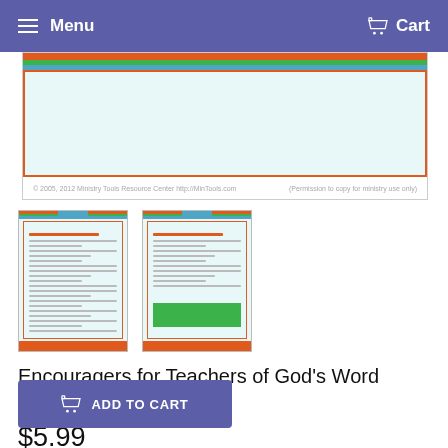Menu   Cart
[Figure (screenshot): Product image showing a document with colored border stripes (orange, green, teal) on a light teal background. Footer text: © 2005, 2012 Ministry Tools Resource Center http://MinTools.com  (Permission to copy for ministry use only)]
[Figure (screenshot): Thumbnail 1: Document page with clipboard styling, colored top bar (orange/green/teal), teal body with text lines]
[Figure (screenshot): Thumbnail 2: Document page with clipboard styling, colored top bar, teal body with text lines and green box at bottom]
Encouragers for Teachers of God's Word Download
$5.99
ADD TO CART